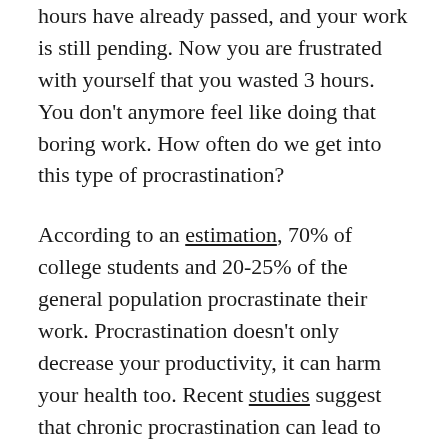hours have already passed, and your work is still pending. Now you are frustrated with yourself that you wasted 3 hours. You don't anymore feel like doing that boring work. How often do we get into this type of procrastination?
According to an estimation, 70% of college students and 20-25% of the general population procrastinate their work. Procrastination doesn't only decrease your productivity, it can harm your health too. Recent studies suggest that chronic procrastination can lead to serious health problems like cardiovascular disease and hypertension. Studies also suggest that procrastination creates stress and anxiety in students.